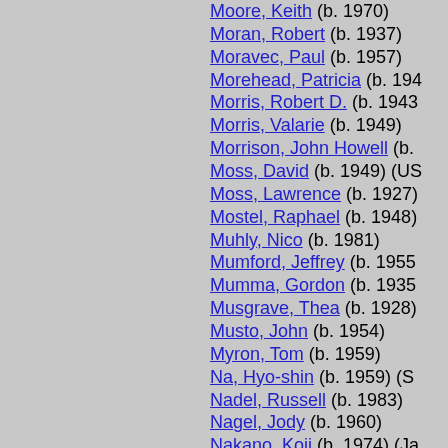Moore, Keith (b. 1970)
Moran, Robert (b. 1937)
Moravec, Paul (b. 1957)
Morehead, Patricia (b. 194…)
Morris, Robert D. (b. 1943…)
Morris, Valarie (b. 1949)
Morrison, John Howell (b.…)
Moss, David (b. 1949) (US…)
Moss, Lawrence (b. 1927)
Mostel, Raphael (b. 1948)
Muhly, Nico (b. 1981)
Mumford, Jeffrey (b. 1955…)
Mumma, Gordon (b. 1935…)
Musgrave, Thea (b. 1928)
Musto, John (b. 1954)
Myron, Tom (b. 1959)
Na, Hyo-shin (b. 1959) (S…)
Nadel, Russell (b. 1983)
Nagel, Jody (b. 1960)
Nakano, Koji (b. 1974) (Ja…)
Naoumoff, Emile (b. 1962…)
Narber, Erik (b. 1980…)